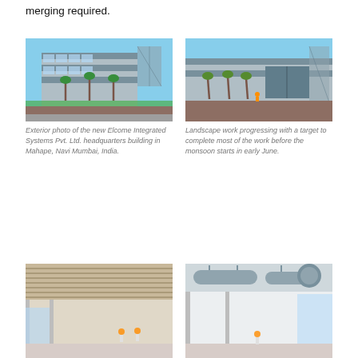merging required.
[Figure (photo): Exterior photo of a building under construction with scaffolding, palm trees being planted along the road, and a glass-curtain-wall facade visible against a clear blue sky.]
Exterior photo of the new Elcome Integrated Systems Pvt. Ltd. headquarters building in Mahape, Navi Mumbai, India.
[Figure (photo): Construction site showing landscape work in progress — exposed soil, planted palm trees, and workers in high-visibility vests near a large industrial building under blue sky.]
Landscape work progressing with a target to complete most of the work before the monsoon starts in early June.
[Figure (photo): Interior construction photo showing a large open space with a timber-slat ceiling and workers visible in the background near floor-to-ceiling windows.]
[Figure (photo): Interior construction photo showing exposed HVAC ductwork running along the ceiling of an open-plan floor with floor-to-ceiling windows and workers visible in the background.]